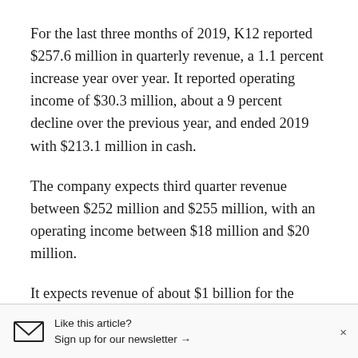For the last three months of 2019, K12 reported $257.6 million in quarterly revenue, a 1.1 percent increase year over year. It reported operating income of $30.3 million, about a 9 percent decline over the previous year, and ended 2019 with $213.1 million in cash.
The company expects third quarter revenue between $252 million and $255 million, with an operating income between $18 million and $20 million.
It expects revenue of about $1 billion for the fiscal year that ends in June, with an operating income of between $48 million and $52 million.
Like this article? Sign up for our newsletter →